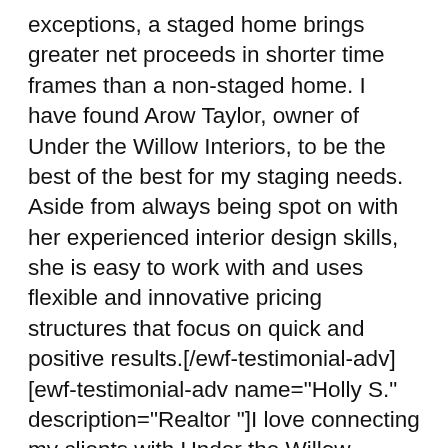exceptions, a staged home brings greater net proceeds in shorter time frames than a non-staged home. I have found Arow Taylor, owner of Under the Willow Interiors, to be the best of the best for my staging needs. Aside from always being spot on with her experienced interior design skills, she is easy to work with and uses flexible and innovative pricing structures that focus on quick and positive results.[/ewf-testimonial-adv][ewf-testimonial-adv name="Holly S." description="Realtor "]I love connecting my clients with Under the Willow Interiors because I know Arow and her eye for aesthetics & design can always help make a home more compelling to sell. I've seen her work with a seller's existing furniture and decor to achieve a more welcoming atmosphere where buyers will be able to picture themselves. I've also seen her convert a vacant home from being cold and cavernous into a place that feels like home...where you just want to sit down and linger a while. The results have spoken for themselves. One example of many, recently after not